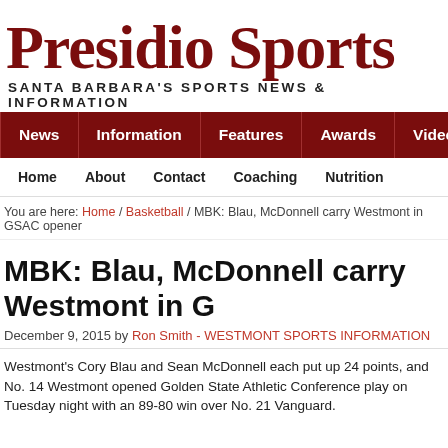Presidio Sports
SANTA BARBARA'S SPORTS NEWS & INFORMATION
News | Information | Features | Awards | Videos
Home | About | Contact | Coaching | Nutrition
You are here: Home / Basketball / MBK: Blau, McDonnell carry Westmont in GSAC opener
MBK: Blau, McDonnell carry Westmont in G
December 9, 2015 by Ron Smith - WESTMONT SPORTS INFORMATION
Westmont's Cory Blau and Sean McDonnell each put up 24 points, and No. 14 Westmont opened Golden State Athletic Conference play on Tuesday night with an 89-80 win over No. 21 Vanguard.